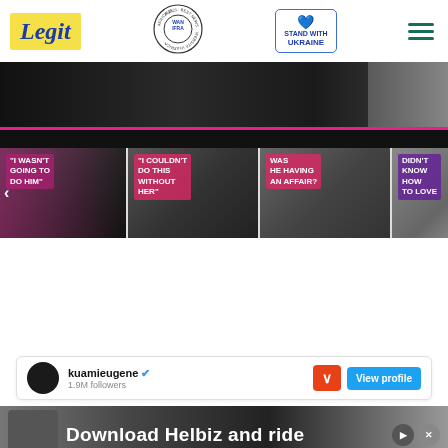[Figure (logo): Legit.ng logo in yellow box with blue italic text]
[Figure (logo): WAN-IFRA Best News Website in Africa 2021 circular badge]
[Figure (logo): Stand with Ukraine badge with heart icon]
[Figure (screenshot): Hero banner with dark celebrity photo and pink border]
[Figure (screenshot): Row of celebrity thumbnail images with text overlays: 'I WASN'T GOING TO DO HIM', 'I COULDN'T DO THIS WITHOUT HER', 'WAS HE HAVING AN AFFAIR?', 'DIDN'T KNOW HOW TO LOVE']
[Figure (screenshot): kuamieugene Instagram profile card with 1.9M followers, red collapse button, and blue View profile button]
[Figure (advertisement): Download Helbiz and ride advertisement banner]